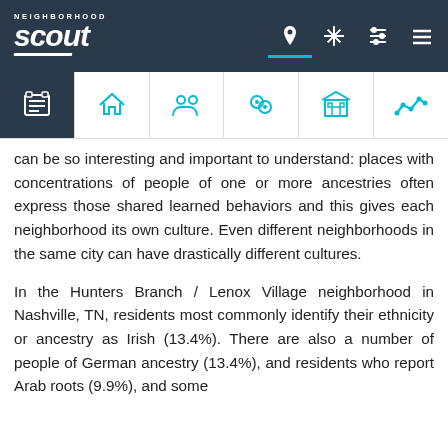Neighborhood Scout - navigation header with logo and icons
can be so interesting and important to understand: places with concentrations of people of one or more ancestries often express those shared learned behaviors and this gives each neighborhood its own culture. Even different neighborhoods in the same city can have drastically different cultures.
In the Hunters Branch / Lenox Village neighborhood in Nashville, TN, residents most commonly identify their ethnicity or ancestry as Irish (13.4%). There are also a number of people of German ancestry (13.4%), and residents who report Arab roots (9.9%), and some